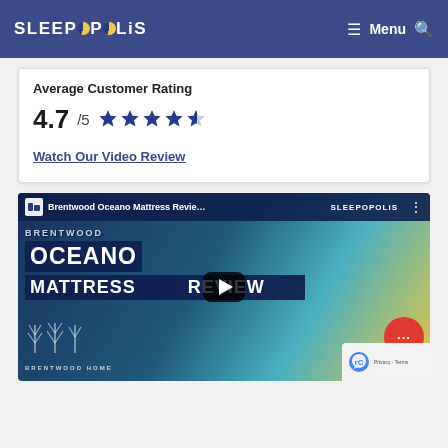SLEEPOPOLIS  Menu 🔍
Average Customer Rating
4.7 /5 ★★★★½
Watch Our Video Review
[Figure (screenshot): YouTube video thumbnail for 'Brentwood Oceano Mattress Review' on the Sleepopolis channel, showing large text 'OCEANO MATTRESS REVIEW' on a dark blue background with a mattress image, play button, and Sleepopolis logo in the corner. A red chat bubble icon and reCAPTCHA badge are overlaid.]